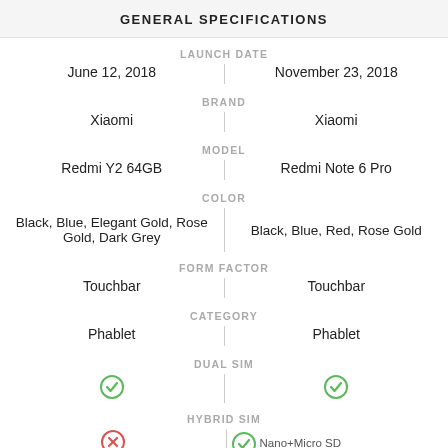GENERAL SPECIFICATIONS
|  | Redmi Y2 64GB | Redmi Note 6 Pro |
| --- | --- | --- |
| LAUNCH DATE | June 12, 2018 | November 23, 2018 |
| BRAND | Xiaomi | Xiaomi |
| MODEL | Redmi Y2 64GB | Redmi Note 6 Pro |
| COLOR | Black, Blue, Elegant Gold, Rose Gold, Dark Grey | Black, Blue, Red, Rose Gold |
| FORM FACTOR | Touchbar | Touchbar |
| CATEGORY | Phablet | Phablet |
| DUAL SIM | ✓ | ✓ |
| HYBRID SIM |  |  |